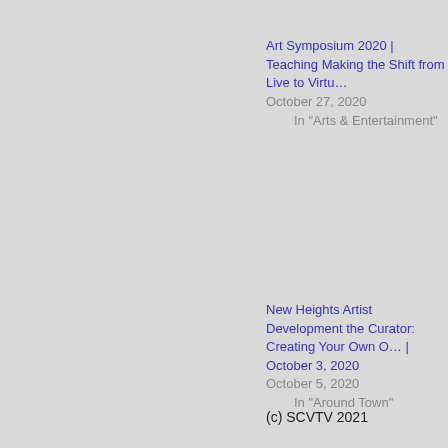Art Symposium 2020 | Teaching Making the Shift from Live to Virt…
October 27, 2020
In "Arts & Entertainment"
New Heights Artist Development the Curator: Creating Your Own O… | October 3, 2020
October 5, 2020
In "Around Town"
(c) SCVTV 2021